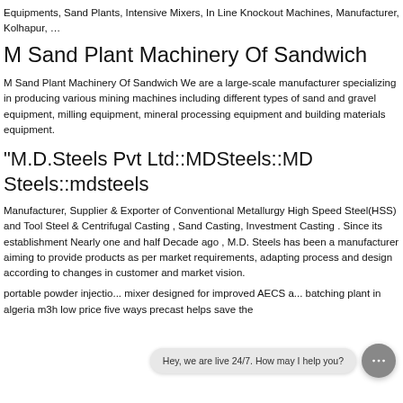Equipments, Sand Plants, Intensive Mixers, In Line Knockout Machines, Manufacturer, Kolhapur, …
M Sand Plant Machinery Of Sandwich
M Sand Plant Machinery Of Sandwich We are a large-scale manufacturer specializing in producing various mining machines including different types of sand and gravel equipment, milling equipment, mineral processing equipment and building materials equipment.
"M.D.Steels Pvt Ltd::MDSteels::MD Steels::mdsteels
Manufacturer, Supplier & Exporter of Conventional Metallurgy High Speed Steel(HSS) and Tool Steel & Centrifugal Casting , Sand Casting, Investment Casting . Since its establishment Nearly one and half Decade ago , M.D. Steels has been a manufacturer aiming to provide products as per market requirements, adapting process and design according to changes in customer and market vision.
portable powder injection... mixer designed for improved AECS a... batching plant in algeria m3h low price five ways precast helps save the